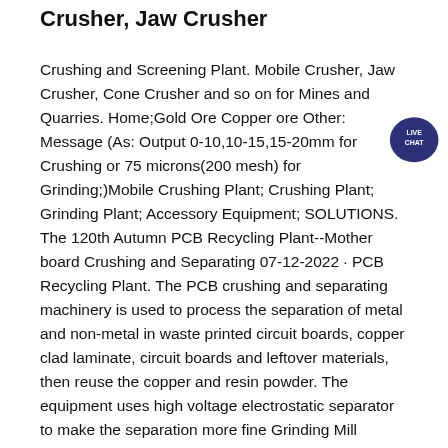Crusher, Jaw Crusher
Crushing and Screening Plant. Mobile Crusher, Jaw Crusher, Cone Crusher and so on for Mines and Quarries. Home;Gold Ore Copper ore Other: Message (As: Output 0-10,10-15,15-20mm for Crushing or 75 microns(200 mesh) for Grinding;)Mobile Crushing Plant; Crushing Plant; Grinding Plant; Accessory Equipment; SOLUTIONS. The 120th Autumn PCB Recycling Plant--Mother board Crushing and Separating 07-12-2022 · PCB Recycling Plant. The PCB crushing and separating machinery is used to process the separation of metal and non-metal in waste printed circuit boards, copper clad laminate, circuit boards and leftover materials, then reuse the copper and resin powder. The equipment uses high voltage electrostatic separator to make the separation more fine Grinding Mill Manufacturers,Mobile Crushing Machine,Mobile The crushing, screening, washing, grinding equipment in stationary, portable, tracked type is